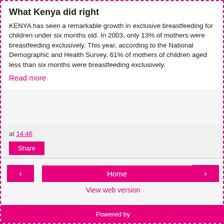What Kenya did right
KENYA has seen a remarkable growth in exclusive breastfeeding for children under six months old. In 2003, only 13% of mothers were breastfeeding exclusively. This year, according to the National Demographic and Health Survey, 61% of mothers of children aged less than six months were breastfeeding exclusively.
Read more
at 14:46
Share
Home
View web version
Powered by